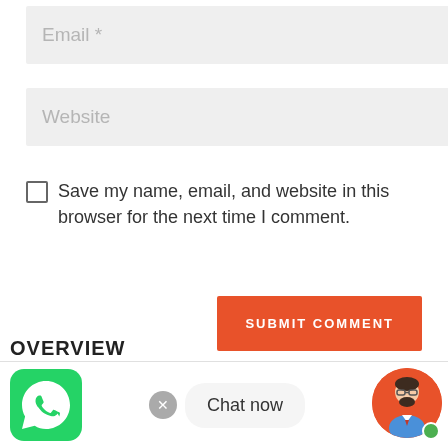Email *
Website
Save my name, email, and website in this browser for the next time I comment.
[Figure (screenshot): SUBMIT COMMENT orange button]
[Figure (screenshot): Bottom bar with WhatsApp icon (green rounded square), a close X button (grey circle), Chat now bubble, and avatar with online indicator. Partial OVERVIEW text at bottom left.]